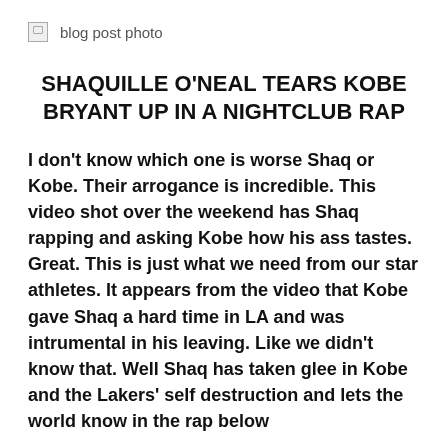[Figure (photo): Broken image placeholder with alt text 'blog post photo']
SHAQUILLE O'NEAL TEARS KOBE BRYANT UP IN A NIGHTCLUB RAP
I don't know which one is worse Shaq or Kobe. Their arrogance is incredible. This video shot over the weekend has Shaq rapping and asking Kobe how his ass tastes. Great. This is just what we need from our star athletes. It appears from the video that Kobe gave Shaq a hard time in LA and was intrumental in his leaving. Like we didn't know that. Well Shaq has taken glee in Kobe and the Lakers' self destruction and lets the world know in the rap below